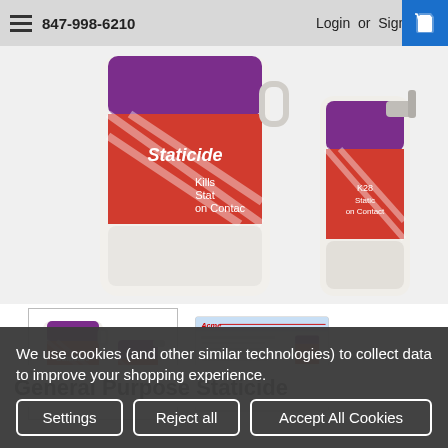847-998-6210   Login or Sign Up
[Figure (photo): Product photo showing large gallon jug and smaller spray bottle of Staticide General Purpose with red and purple labels reading 'Kills Static on Contact']
[Figure (photo): Thumbnail of Staticide gallon jug and spray bottle]
[Figure (photo): Thumbnail of Staticide product data sheet document]
General Purpose Staticide
We use cookies (and other similar technologies) to collect data to improve your shopping experience.
Settings   Reject all   Accept All Cookies